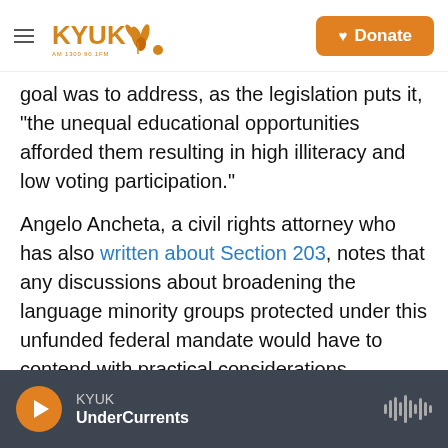KYUK | Donate
goal was to address, as the legislation puts it, "the unequal educational opportunities afforded them resulting in high illiteracy and low voting participation."
Angelo Ancheta, a civil rights attorney who has also written about Section 203, notes that any discussions about broadening the language minority groups protected under this unfunded federal mandate would have to contend with practical considerations.
"It's not cheap to produce ballots in other
KYUK | UnderCurrents